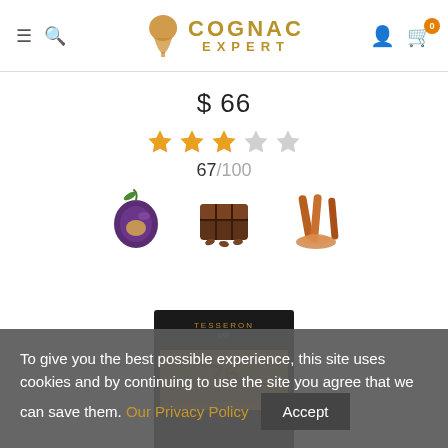Cognac Expert – navigation header with hamburger menu, search, logo, user icon, cart (0)
$ 66
[Figure (infographic): Star rating: 3 out of 5 stars (3 filled orange, 2 grey)]
67/100
[Figure (infographic): Three flavor icons: plum, chocolate, cinnamon/spice]
[Figure (photo): Tesseron cognac product in black and gold gift box packaging]
To give you the best possible experience, this site uses cookies and by continuing to use the site you agree that we can save them. Our Privacy Policy  Accept